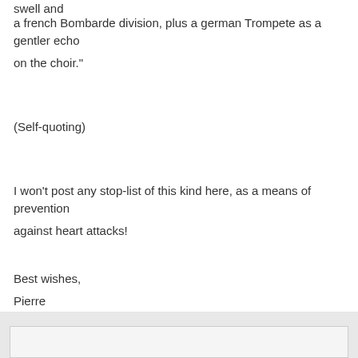swell and
a french Bombarde division, plus a german Trompete as a gentler echo
on the choir."
(Self-quoting)
I won't post any stop-list of this kind here, as a means of prevention
against heart attacks!
Best wishes,
Pierre